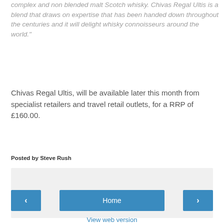complex and non blended malt Scotch whisky. Chivas Regal Ultis is a blend that draws on expertise that has been handed down throughout the centuries and it will delight whisky connoisseurs around the world."
Chivas Regal Ultis, will be available later this month from specialist retailers and travel retail outlets, for a RRP of £160.00.
Posted by Steve Rush
[Figure (other): Share button widget area with grey background]
[Figure (other): Navigation bar with left arrow, Home button, and right arrow]
View web version
Powered by Blogger.